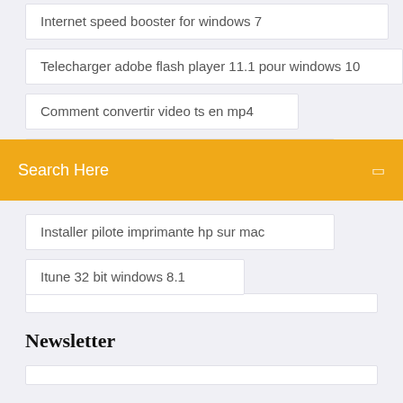Internet speed booster for windows 7
Telecharger adobe flash player 11.1 pour windows 10
Comment convertir video ts en mp4
Telecharger logiciel de photos gratuit
Search Here
Installer pilote imprimante hp sur mac
Itune 32 bit windows 8.1
Newsletter